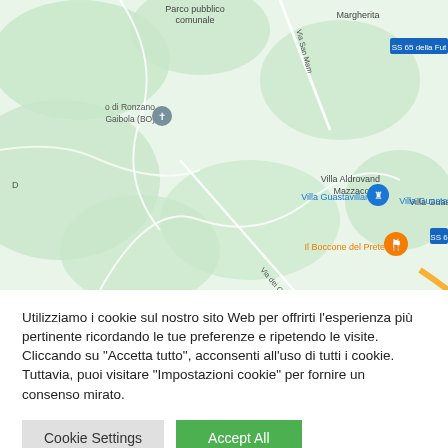[Figure (map): Google Maps screenshot showing an area near Bologna, Italy. Visible labels include 'Parco pubblico comunale', 'o di Ronzano Gaibola (BO)' with a church icon, 'Via San Mam...' road, 'Margherita', 'SS 65 della Futa' road sign, 'Villa Aldrovand Mazzacorat', 'Villa Guastavillani' with a blue castle pin, 'Il Boccone del Prete' with an orange food pin, 'Via dei Colli' road, and 'SS 6' road sign. The map has green hilly terrain.]
Utilizziamo i cookie sul nostro sito Web per offrirti l'esperienza più pertinente ricordando le tue preferenze e ripetendo le visite. Cliccando su "Accetta tutto", acconsenti all'uso di tutti i cookie. Tuttavia, puoi visitare "Impostazioni cookie" per fornire un consenso mirato.